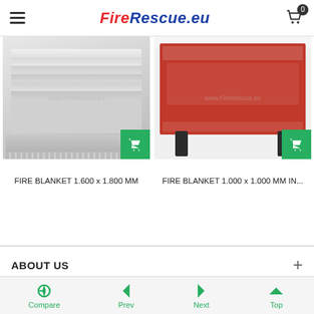FireRescue.eu — navigation header with hamburger menu and cart (0 items)
[Figure (photo): Fire blanket folded, white/grey fabric, product image with watermark www.FireRescue.eu]
[Figure (photo): Fire blanket 1000x1000mm in red soft case with handles, product image with watermark www.FireRescue.eu]
FIRE BLANKET 1.600 x 1.800 MM
FIRE BLANKET 1.000 x 1.000 MM IN...
ABOUT US
Compare | Prev | Next | Top